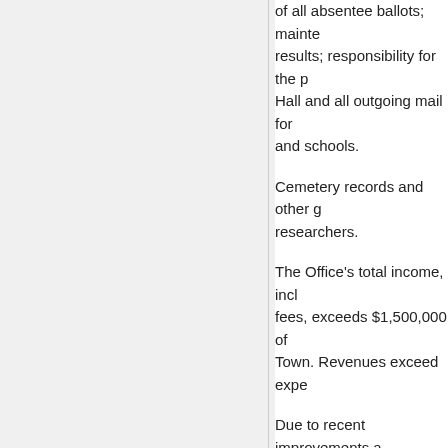of all absentee ballots; maintenance of election results; responsibility for the posting at Town Hall and all outgoing mail for the town and schools.
Cemetery records and other genealogical researchers.
The Office's total income, including recording fees, exceeds $1,500,000 of which goes to the Town. Revenues exceed expenses.
Due to recent improvements and many records are more accessible and user-friendly as listed below. Minutes & Agendas meeting Schedules and Election Commissions. The Town Clerk's office. For more information on eRecording, visit www.erecording.com.
Do you need to obtain a request (see links below) or letter to...